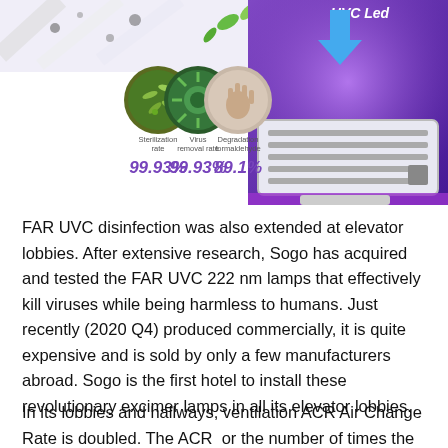[Figure (infographic): Infographic showing UVC LED device with three circular images (bacteria, virus, hand) and sterilization statistics: Sterilization rate 99.93%, Virus removal rate 99.93%, Degradation formaldehyde 89.1%. Right side shows a UVC LED air purifier device glowing purple with label 'UVC Led' and blue arrow pointing down.]
FAR UVC disinfection was also extended at elevator lobbies. After extensive research, Sogo has acquired and tested the FAR UVC 222 nm lamps that effectively kill viruses while being harmless to humans. Just recently (2020 Q4) produced commercially, it is quite expensive and is sold by only a few manufacturers abroad. Sogo is the first hotel to install these revolutionary excimer lamps in all its elevator lobbies.
In its lobbies and hallways, ventilation ACR Air Change Rate is doubled. The ACR  or the number of times the air is replaced